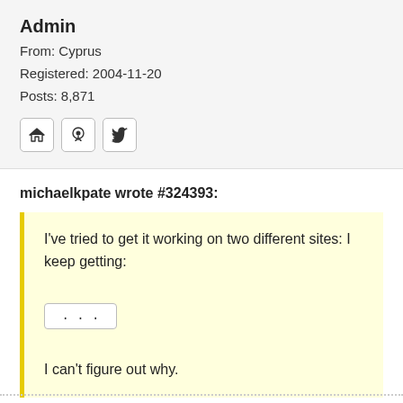Admin
From: Cyprus
Registered: 2004-11-20
Posts: 8,871
[Figure (other): Three icon buttons: home icon, GitHub icon, Twitter bird icon]
michaelkpate wrote #324393:
I've tried to get it working on two different sites: I keep getting:
...
I can't figure out why.
Hi Michael, thanks for testing! That is strange! I'm not getting this error!